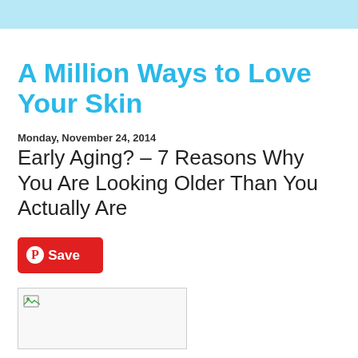A Million Ways to Love Your Skin
Monday, November 24, 2014
Early Aging? – 7 Reasons Why You Are Looking Older Than You Actually Are
[Figure (other): Red Pinterest Save button]
[Figure (photo): Broken image placeholder with small image icon in top-left corner]